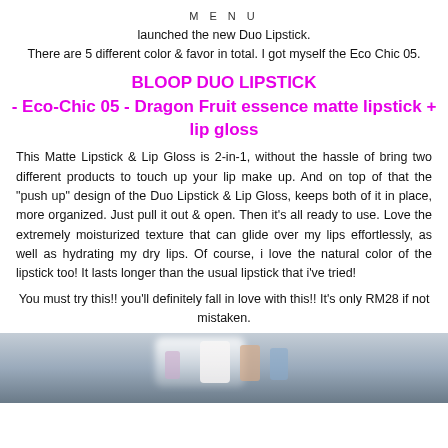MENU
launched the new Duo Lipstick.
There are 5 different color & favor in total. I got myself the Eco Chic 05.
BLOOP DUO LIPSTICK
- Eco-Chic 05 - Dragon Fruit essence matte lipstick + lip gloss
This Matte Lipstick & Lip Gloss is 2-in-1, without the hassle of bring two different products to touch up your lip make up. And on top of that the "push up" design of the Duo Lipstick & Lip Gloss, keeps both of it in place, more organized. Just pull it out & open. Then it's all ready to use. Love the extremely moisturized texture that can glide over my lips effortlessly, as well as hydrating my dry lips. Of course, i love the natural color of the lipstick too! It lasts longer than the usual lipstick that i've tried!
You must try this!! you'll definitely fall in love with this!! It's only RM28 if not mistaken.
[Figure (photo): Close-up blurred photo of lipstick products on a surface]